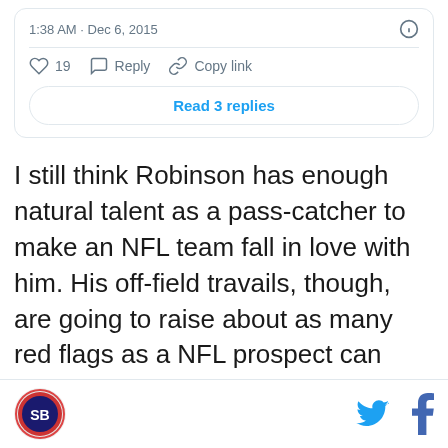[Figure (screenshot): Tweet card showing timestamp 1:38 AM · Dec 6, 2015 with like count 19, Reply, Copy link actions, and a Read 3 replies button]
I still think Robinson has enough natural talent as a pass-catcher to make an NFL team fall in love with him. His off-field travails, though, are going to raise about as many red flags as a NFL prospect can without actual legal issues — and, in some ways, Robinson's misdeeds have come at such a cost to his teammates that they might trump criminal actions for some NFL front offices.
Site logo, Twitter icon, Facebook icon